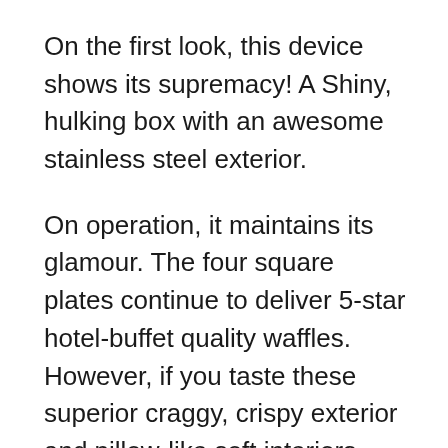On the first look, this device shows its supremacy! A Shiny, hulking box with an awesome stainless steel exterior.
On operation, it maintains its glamour. The four square plates continue to deliver 5-star hotel-buffet quality waffles. However, if you taste these superior craggy, crispy exterior and pillow-like soft interiors, you may rate them much higher than 5 stars!
Thanks to All-Clad for using a high-tech steam-release stem which is the main secret behind fantastic waffles.
Pluses are remaining. When starting the recipe, the indicator light and audible beep let you know when